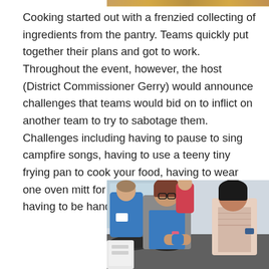[Figure (photo): Partial photo at top of page, cropped, showing warm-toned image (food or cooking scene)]
Cooking started out with a frenzied collecting of ingredients from the pantry. Teams quickly put together their plans and got to work. Throughout the event, however, the host (District Commissioner Gerry) would announce challenges that teams would bid on to inflict on another team to try to sabotage them. Challenges including having to pause to sing campfire songs, having to use a teeny tiny frying pan to cook your food, having to wear one oven mitt for the duration of the game, and having to be handcuffed to another teammate.
[Figure (photo): Photo of three women cooking in a kitchen. A woman in a blue shirt stands in the background, a woman with glasses and a grey cardigan over a blue top is in the center leaning over cooking equipment, and a woman with dark hair in a patterned top is on the right. They appear to be at a cooking event with pans and equipment on the counter.]